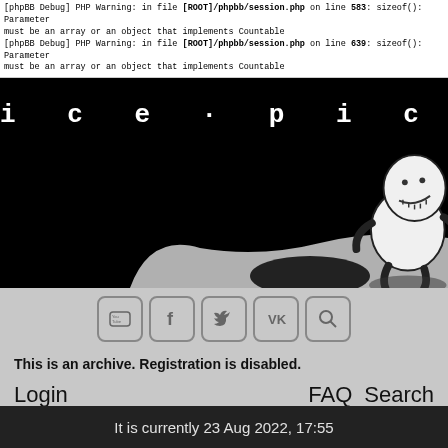[phpBB Debug] PHP Warning: in file [ROOT]/phpbb/session.php on line 583: sizeof(): Parameter must be an array or an object that implements Countable
[phpBB Debug] PHP Warning: in file [ROOT]/phpbb/session.php on line 639: sizeof(): Parameter must be an array or an object that implements Countable
[Figure (illustration): Dark website banner with the text 'ice-pick' in monospaced font, a gray landscape silhouette at bottom, and a stitched voodoo doll character in the bottom right.]
[Figure (infographic): Row of five social media icon buttons: YouTube, Facebook, Twitter, VK, and a search magnifier icon.]
This is an archive. Registration is disabled.
Login                                    FAQ    Search
It is currently 23 Aug 2022, 17:55